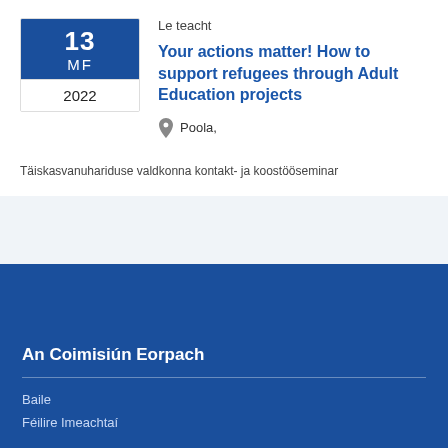Le teacht
Your actions matter! How to support refugees through Adult Education projects
Poola,
Täiskasvanuhariduse valdkonna kontakt- ja koostööseminar
An Coimisiún Eorpach
Baile
Féilire Imeachtaí